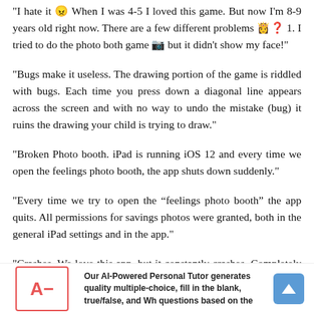"I hate it 😠 When I was 4-5 I loved this game. But now I'm 8-9 years old right now. There are a few different problems 👸❓ 1. I tried to do the photo both game 📷 but it didn't show my face!"
"Bugs make it useless. The drawing portion of the game is riddled with bugs. Each time you press down a diagonal line appears across the screen and with no way to undo the mistake (bug) it ruins the drawing your child is trying to draw."
"Broken Photo booth. iPad is running iOS 12 and every time we open the feelings photo booth, the app shuts down suddenly."
"Every time we try to open the “feelings photo booth” the app quits. All permissions for savings photos were granted, both in the general iPad settings and in the app."
"Crashes. We love this app, but it constantly crashes. Completely useless."
[Figure (illustration): Grade box showing A- in red, with AI-Powered Personal Tutor text and blue up arrow button]
Our AI-Powered Personal Tutor generates quality multiple-choice, fill in the blank, true/false, and Wh questions based on the